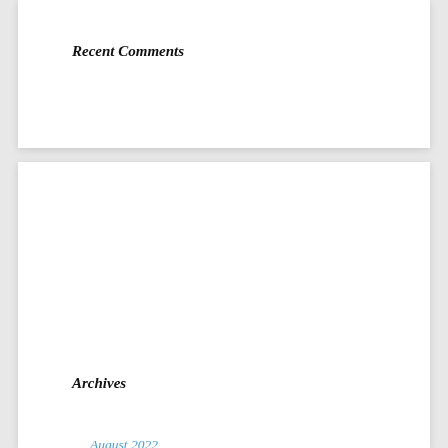Recent Comments
Archives
August 2022
July 2022
June 2022
May 2022
April 2022
March 2022
February 2022
January 2022